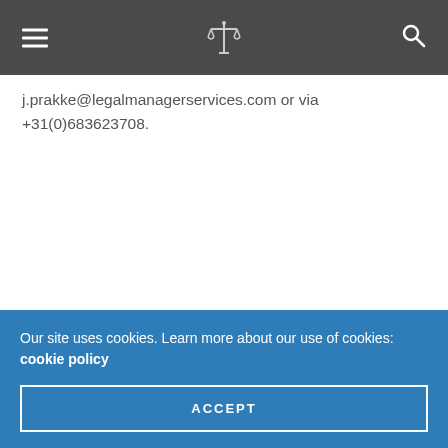[Navigation header with hamburger menu, scales of justice logo, and search icon]
j.prakke@legalmanagerservices.com or via +31(0)683623708.
Our site uses cookies. Learn more about our use of cookies: cookie policy
ACCEPT